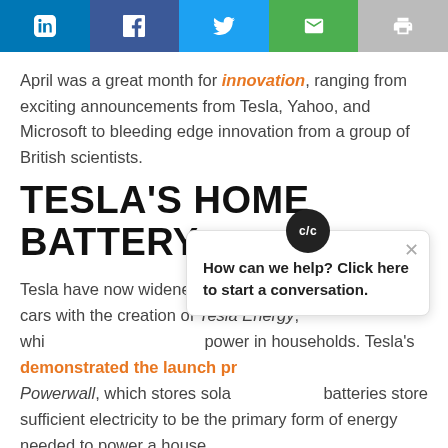[Figure (other): Social sharing buttons: LinkedIn (blue), Facebook (dark blue), Twitter (light blue), Email (green), Print (gray)]
April was a great month for innovation, ranging from exciting announcements from Tesla, Yahoo, and Microsoft to bleeding edge innovation from a group of British scientists.
TESLA'S HOME BATTERY
Tesla have now widened their product range beyond cars with the creation of Tesla Energy, whi... power in households. Tesla's... demonstrated the launch pr... Powerwall, which stores sola... batteries store sufficient electricity to be the primary form of energy needed to power a house.
The Tesla Powerwall can be attached to a wall. Just like the more
[Figure (other): Live chat popup widget with avatar showing 'c/c', close button, text 'How can we help? Click here to start a conversation.' and orange chat FAB button]